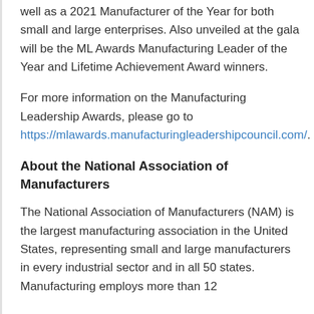well as a 2021 Manufacturer of the Year for both small and large enterprises. Also unveiled at the gala will be the ML Awards Manufacturing Leader of the Year and Lifetime Achievement Award winners.
For more information on the Manufacturing Leadership Awards, please go to https://mlawards.manufacturingleadershipcouncil.com/.
About the National Association of Manufacturers
The National Association of Manufacturers (NAM) is the largest manufacturing association in the United States, representing small and large manufacturers in every industrial sector and in all 50 states. Manufacturing employs more than 12